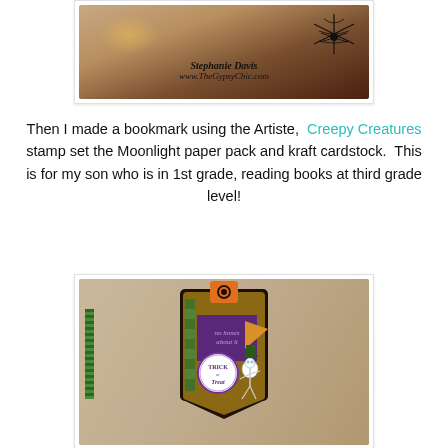[Figure (photo): Craft project photo showing a Halloween-themed item with text 'Stephanie Davis' and 'www.TheGypsyChic.com' overlaid on a dark decorative background with spider design]
Then I made a bookmark using the Artiste, Creepy Creatures stamp set the Moonlight paper pack and kraft cardstock.  This is for my son who is in 1st grade, reading books at third grade level!
[Figure (photo): Craft project photo showing a Halloween-themed bookmark made with kraft cardstock featuring: an orange tab at top, a purple banner with 'no bones about it' text, an orange pennant, a circular 'Trick or Treat' stamp, a skeletal figure, and a green patterned strip. Text reads 'no bones about it' and 'TRICK or Treat'.]